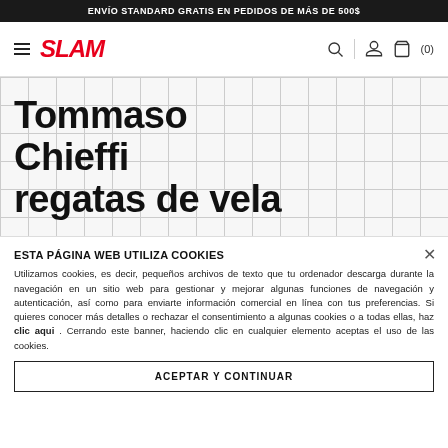ENVÍO STANDARD GRATIS EN PEDIDOS DE MÁS DE 500$
[Figure (logo): SLAM sailing brand logo in red italic bold text]
Tommaso Chieffi regatas de vela
ESTA PÁGINA WEB UTILIZA COOKIES
Utilizamos cookies, es decir, pequeños archivos de texto que tu ordenador descarga durante la navegación en un sitio web para gestionar y mejorar algunas funciones de navegación y autenticación, así como para enviarte información comercial en línea con tus preferencias. Si quieres conocer más detalles o rechazar el consentimiento a algunas cookies o a todas ellas, haz clic aqui . Cerrando este banner, haciendo clic en cualquier elemento aceptas el uso de las cookies.